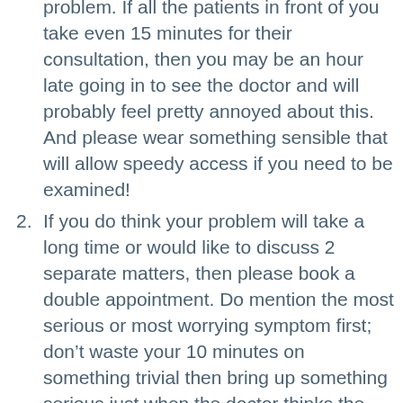problem. If all the patients in front of you take even 15 minutes for their consultation, then you may be an hour late going in to see the doctor and will probably feel pretty annoyed about this. And please wear something sensible that will allow speedy access if you need to be examined!
If you do think your problem will take a long time or would like to discuss 2 separate matters, then please book a double appointment. Do mention the most serious or most worrying symptom first; don’t waste your 10 minutes on something trivial then bring up something serious just when the doctor thinks the consultation is coming to an end.